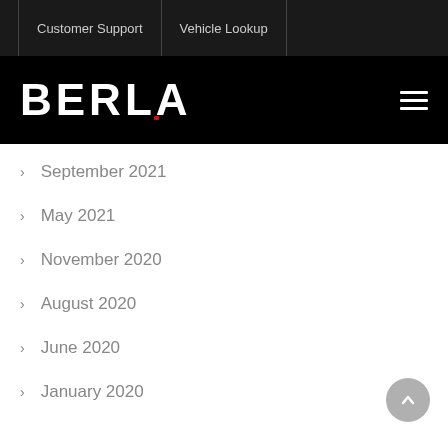Customer Support | Vehicle Lookup
[Figure (logo): BERLA logo in white bold text on black background with red accent mark, and hamburger menu icon on the right]
> September 2021
> May 2021
> November 2020
> August 2020
> June 2020
> January 2020